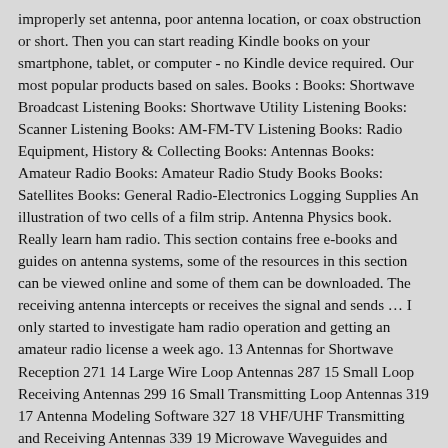improperly set antenna, poor antenna location, or coax obstruction or short. Then you can start reading Kindle books on your smartphone, tablet, or computer - no Kindle device required. Our most popular products based on sales. Books : Books: Shortwave Broadcast Listening Books: Shortwave Utility Listening Books: Scanner Listening Books: AM-FM-TV Listening Books: Radio Equipment, History & Collecting Books: Antennas Books: Amateur Radio Books: Amateur Radio Study Books Books: Satellites Books: General Radio-Electronics Logging Supplies An illustration of two cells of a film strip. Antenna Physics book. Really learn ham radio. This section contains free e-books and guides on antenna systems, some of the resources in this section can be viewed online and some of them can be downloaded. The receiving antenna intercepts or receives the signal and sends … I only started to investigate ham radio operation and getting an amateur radio license a week ago. 13 Antennas for Shortwave Reception 271 14 Large Wire Loop Antennas 287 15 Small Loop Receiving Antennas 299 16 Small Transmitting Loop Antennas 319 17 Antenna Modeling Software 327 18 VHF/UHF Transmitting and Receiving Antennas 339 19 Microwave Waveguides and Antennas 369 20 Antenna Noise Temperature 417 21 Antennas for Radio Astronomy 421 22 Adjusting, Installing, and … This is like paying for a preface to a book. Instead